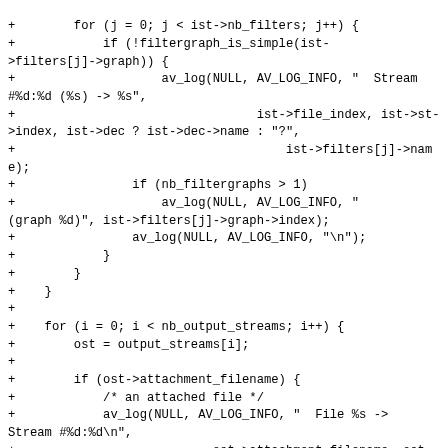+        for (j = 0; j < ist->nb_filters; j++) {
+            if (!filtergraph_is_simple(ist->filters[j]->graph)) {
+                    av_log(NULL, AV_LOG_INFO, "  Stream #%d:%d (%s) -> %s",
+                                 ist->file_index, ist->st->index, ist->dec ? ist->dec->name : "?",
+                                     ist->filters[j]->name);
+                if (nb_filtergraphs > 1)
+                    av_log(NULL, AV_LOG_INFO, " (graph %d)", ist->filters[j]->graph->index);
+                av_log(NULL, AV_LOG_INFO, "\n");
+            }
+        }
+    }
+
+    for (i = 0; i < nb_output_streams; i++) {
+        ost = output_streams[i];
+
+        if (ost->attachment_filename) {
+            /* an attached file */
+            av_log(NULL, AV_LOG_INFO, "  File %s -> Stream #%d:%d\n",
+                           ost->attachment_filename, ost->file_index, ost->index);
+            continue;
+        }
+
+        if (ost->filter &&
!filtergraph_is_simple(ost->filter->graph)) {